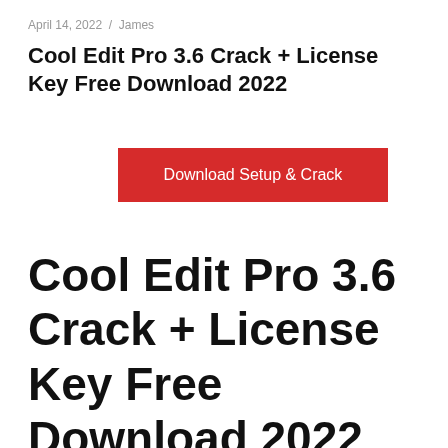April 14, 2022 / James
Cool Edit Pro 3.6 Crack + License Key Free Download 2022
[Figure (other): Red download button with text 'Download Setup & Crack']
Cool Edit Pro 3.6 Crack + License Key Free Download 2022